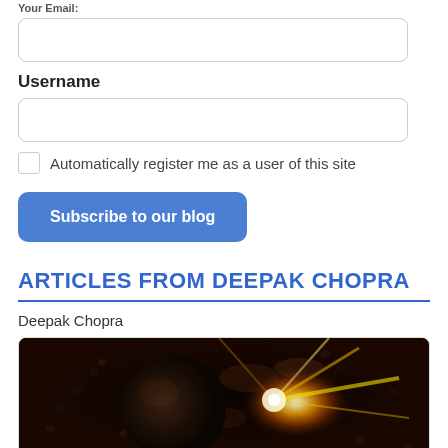Your Email:
Username
Automatically register me as a user of this site
Subscribe to our blog
ARTICLES FROM DEEPAK CHOPRA
Deepak Chopra
[Figure (photo): Space/cosmic scene with a planet silhouette against an explosive bright light with fire and debris/asteroids]